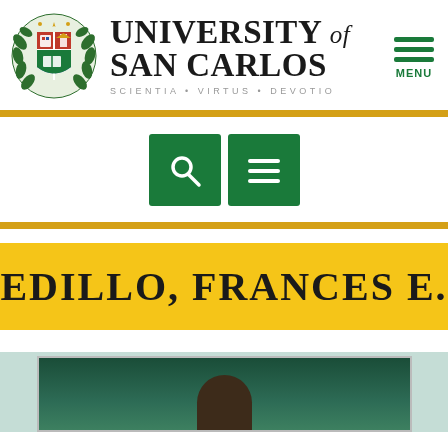[Figure (logo): University of San Carlos crest/coat of arms logo with red, blue and green shield, laurel wreath surround]
UNIVERSITY of SAN CARLOS
SCIENTIA · VIRTUS · DEVOTIO
[Figure (infographic): Green hamburger menu icon with three horizontal lines and MENU text below]
[Figure (infographic): Two green square buttons: search (magnifying glass icon) and menu (three lines icon)]
EDILLO, FRANCES E.
[Figure (photo): Partial profile photo of person, dark green background, bottom portion visible]